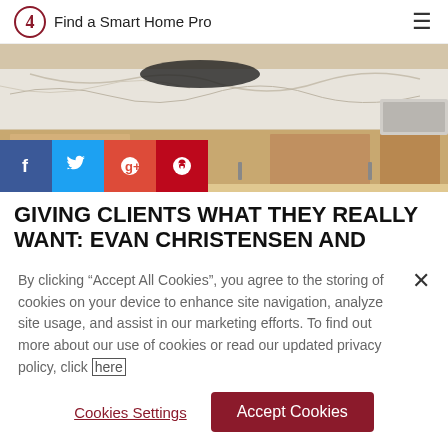Find a Smart Home Pro
[Figure (photo): Kitchen countertop with white marble surface, sink, and light wood cabinets]
GIVING CLIENTS WHAT THEY REALLY WANT: EVAN CHRISTENSEN AND HARRY HAMILTON ON HOME
By clicking "Accept All Cookies", you agree to the storing of cookies on your device to enhance site navigation, analyze site usage, and assist in our marketing efforts. To find out more about our use of cookies or read our updated privacy policy, click here
Cookies Settings | Accept Cookies